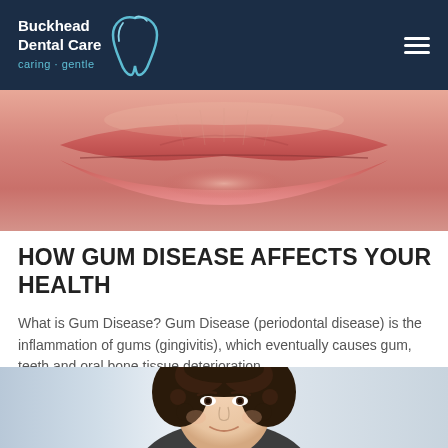Buckhead Dental Care caring · gentle
[Figure (photo): Close-up photo of a person's lips, showing slightly parted lips with natural skin texture visible]
HOW GUM DISEASE AFFECTS YOUR HEALTH
What is Gum Disease? Gum Disease (periodontal disease) is the inflammation of gums (gingivitis), which eventually causes gum, teeth and oral bone tissue deterioration.
[Figure (photo): Photo of a young woman with curly dark hair, smiling, cropped from forehead to chin]